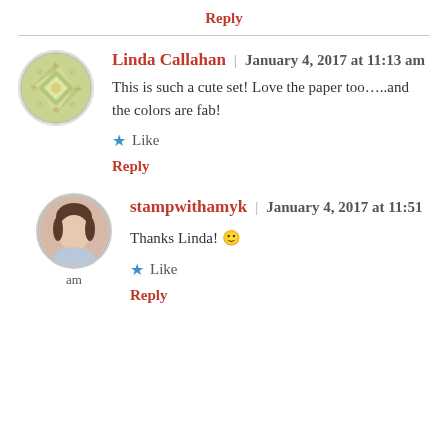Reply
Linda Callahan | January 4, 2017 at 11:13 am
This is such a cute set! Love the paper too…..and the colors are fab!
Like
Reply
stampwithamyk | January 4, 2017 at 11:51 am
Thanks Linda! 🙂
Like
Reply